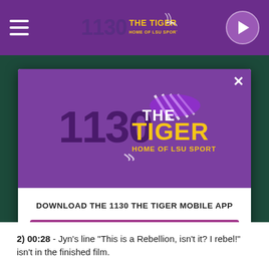[Figure (screenshot): 1130 The Tiger radio station website screenshot with a modal popup dialog. The page shows a purple header with hamburger menu, the 1130 The Tiger logo, and a play button. A modal popup is overlaid showing the 1130 The Tiger logo on purple background, a 'Download the 1130 The Tiger Mobile App' message, a 'Get Our Free Mobile App' button, and an Amazon Alexa listen option. Below the modal is article text.]
2) 00:28 - Jyn's line "This is a Rebellion, isn't it? I rebel!" isn't in the finished film.